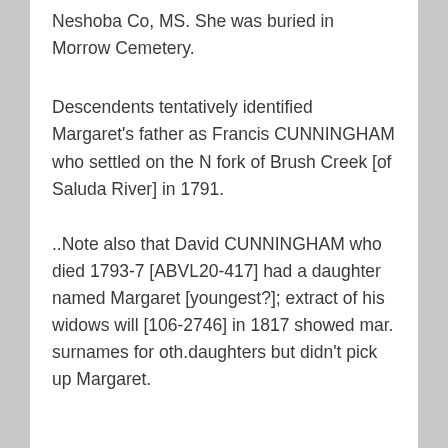Neshoba Co, MS. She was buried in Morrow Cemetery.
Descendents tentatively identified Margaret’s father as Francis CUNNINGHAM who settled on the N fork of Brush Creek [of Saluda River] in 1791.
..Note also that David CUNNINGHAM who died 1793-7 [ABVL20-417] had a daughter named Margaret [youngest?]; extract of his widows will [106-2746] in 1817 showed mar. surnames for oth.daughters but didn’t pick up Margaret.